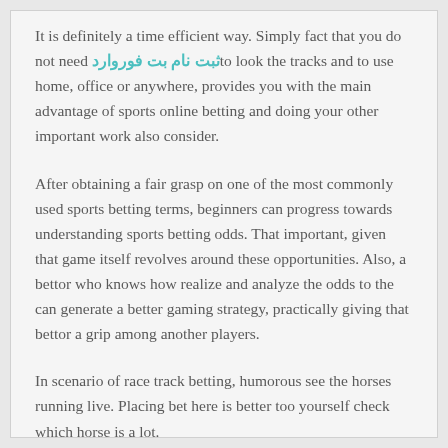It is definitely a time efficient way. Simply fact that you do not need ثبت نام بت فوروارد to look the tracks and to use home, office or anywhere, provides you with the main advantage of sports online betting and doing your other important work also consider.
After obtaining a fair grasp on one of the most commonly used sports betting terms, beginners can progress towards understanding sports betting odds. That important, given that game itself revolves around these opportunities. Also, a bettor who knows how realize and analyze the odds to the can generate a better gaming strategy, practically giving that bettor a grip among another players.
In scenario of race track betting, humorous see the horses running live. Placing bet here is better too yourself check which horse is a lot.